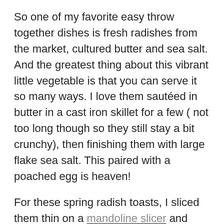So one of my favorite easy throw together dishes is fresh radishes from the market, cultured butter and sea salt. And the greatest thing about this vibrant little vegetable is that you can serve it so many ways. I love them sautéed in butter in a cast iron skillet for a few ( not too long though so they still stay a bit crunchy), then finishing them with large flake sea salt. This paired with a poached egg is heaven!
For these spring radish toasts, I sliced them thin on a mandoline slicer and could't stop snacking on them as I was making the sandwich! So crunchy and fresh.
Ok but back to the recipe before I get too carried away with endless radish possibilities…. This sandwich is incredibly easy as you'll see in the recipe below. It's notable to